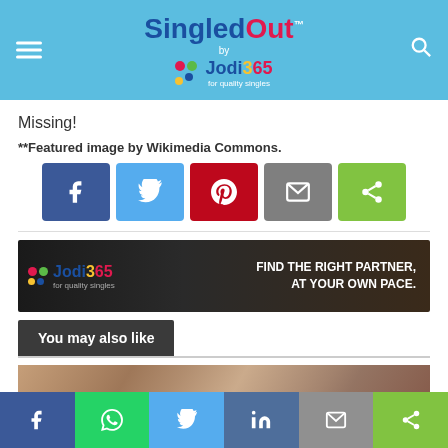[Figure (logo): SingledOut by Jodi365 website header with blue background, hamburger menu icon on left, search icon on right, and SingledOut logo with Jodi365 badge in center]
Missing!
**Featured image by Wikimedia Commons.
[Figure (infographic): Social share buttons: Facebook (blue), Twitter (light blue), Pinterest (red), Email (gray), Share (green)]
[Figure (infographic): Jodi365 advertisement banner: FIND THE RIGHT PARTNER. AT YOUR OWN PACE.]
You may also like
[Figure (photo): Blurred lifestyle photo with COMMUNITY & CULTURE label overlay]
[Figure (infographic): Bottom share bar with Facebook, WhatsApp, Twitter, LinkedIn, Email, and Share buttons]